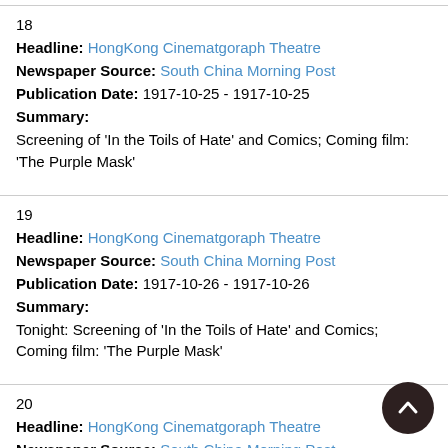18
Headline: HongKong Cinematgoraph Theatre
Newspaper Source: South China Morning Post
Publication Date: 1917-10-25 - 1917-10-25
Summary:
Screening of 'In the Toils of Hate' and Comics; Coming film: 'The Purple Mask'
19
Headline: HongKong Cinematgoraph Theatre
Newspaper Source: South China Morning Post
Publication Date: 1917-10-26 - 1917-10-26
Summary:
Tonight: Screening of 'In the Toils of Hate' and Comics; Coming film: 'The Purple Mask'
20
Headline: HongKong Cinematgoraph Theatre
Newspaper Source: South China Morning Post